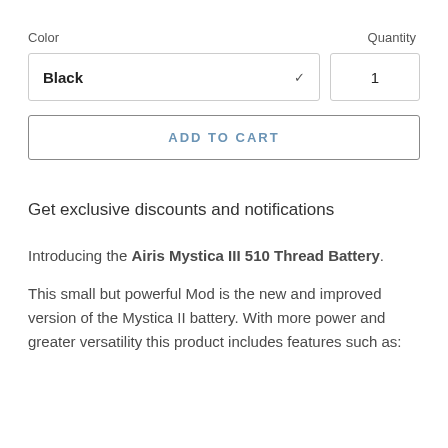Color
Quantity
Black
1
ADD TO CART
Get exclusive discounts and notifications
Introducing the Airis Mystica III 510 Thread Battery.
This small but powerful Mod is the new and improved version of the Mystica II battery. With more power and greater versatility this product includes features such as: